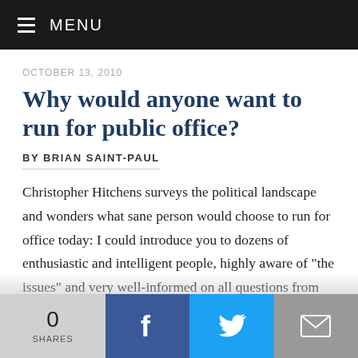MENU
OCTOBER 13, 2010
Why would anyone want to run for public office?
BY BRIAN SAINT-PAUL
Christopher Hitchens surveys the political landscape and wonders what sane person would choose to run for office today: I could introduce you to dozens of enthusiastic and intelligent people, highly aware of "the issues" and very well-informed on all questions from human rights to world trade to counterinsurgency, to none of whom it would
0 SHARES